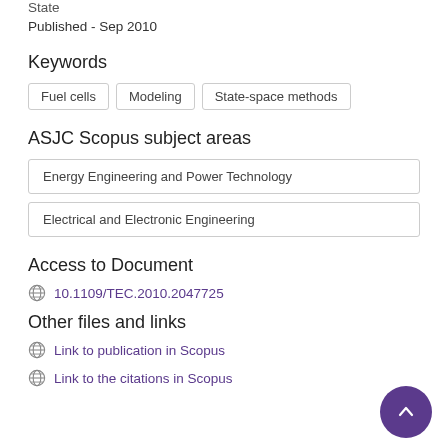State
Published - Sep 2010
Keywords
Fuel cells
Modeling
State-space methods
ASJC Scopus subject areas
Energy Engineering and Power Technology
Electrical and Electronic Engineering
Access to Document
10.1109/TEC.2010.2047725
Other files and links
Link to publication in Scopus
Link to the citations in Scopus